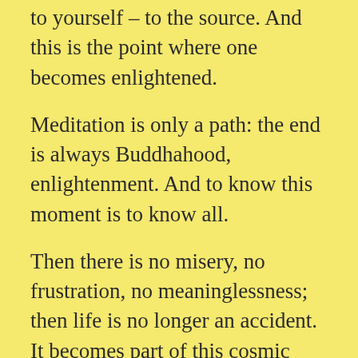to yourself – to the source. And this is the point where one becomes enlightened.
Meditation is only a path: the end is always Buddhahood, enlightenment. And to know this moment is to know all.
Then there is no misery, no frustration, no meaninglessness; then life is no longer an accident. It becomes part of this cosmic whole – an essential part. And a tremendous bliss arises that this whole existence needs you.
Man's greatest need is to be needed. If somebody needs you, you feel gratified. But if the whole existence needs you, then there is no limit to your bliss. And this existence needs